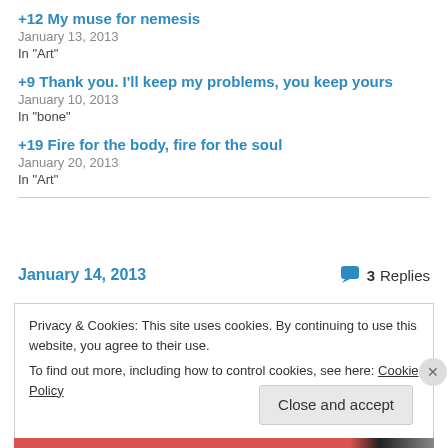+12 My muse for nemesis
January 13, 2013
In "Art"
+9 Thank you. I'll keep my problems, you keep yours
January 10, 2013
In "bone"
+19 Fire for the body, fire for the soul
January 20, 2013
In "Art"
January 14, 2013   💬 3 Replies
Privacy & Cookies: This site uses cookies. By continuing to use this website, you agree to their use.
To find out more, including how to control cookies, see here: Cookie Policy
Close and accept